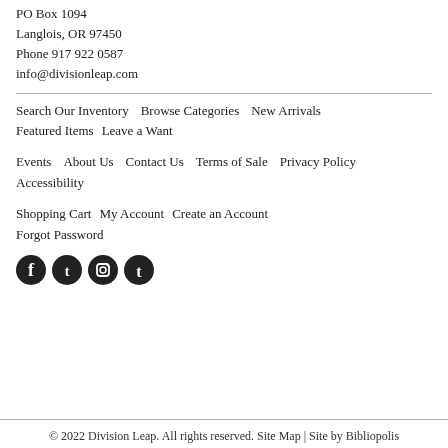PO Box 1094
Langlois, OR 97450
Phone 917 922 0587
info@divisionleap.com
Search Our Inventory    Browse Categories    New Arrivals    Featured Items    Leave a Want
Events    About Us    Contact Us    Terms of Sale    Privacy Policy    Accessibility
Shopping Cart    My Account    Create an Account    Forgot Password
[Figure (illustration): Four social media icons: Facebook, Twitter, Instagram, Tumblr]
© 2022 Division Leap. All rights reserved. Site Map | Site by Bibliopolis